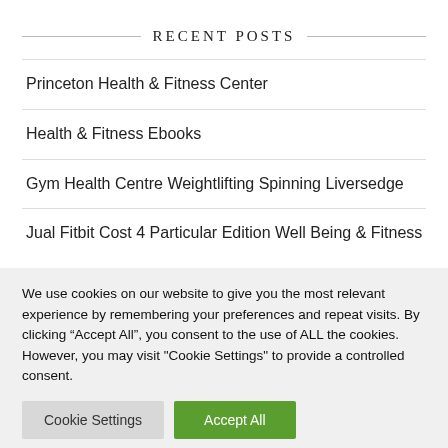RECENT POSTS
Princeton Health & Fitness Center
Health & Fitness Ebooks
Gym Health Centre Weightlifting Spinning Liversedge
Jual Fitbit Cost 4 Particular Edition Well Being & Fitness
We use cookies on our website to give you the most relevant experience by remembering your preferences and repeat visits. By clicking “Accept All”, you consent to the use of ALL the cookies. However, you may visit "Cookie Settings" to provide a controlled consent.